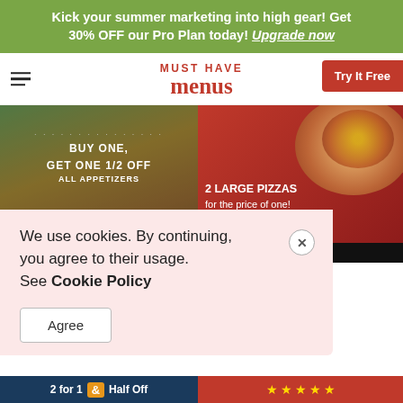Kick your summer marketing into high gear! Get 30% OFF our Pro Plan today! Upgrade now
[Figure (screenshot): Must Have Menus website navigation bar with hamburger menu, logo, and Try It Free button]
[Figure (screenshot): Two promotional menu panels: left shows Buy One Get One 1/2 Off All Appetizers PRO; right shows 2 Large Pizzas for the price of one PRO]
We use cookies. By continuing, you agree to their usage. See Cookie Policy
Agree
[Figure (screenshot): Bottom promotional bar showing 2 for 1 & Half Off on left dark blue panel, and stars on right red panel]